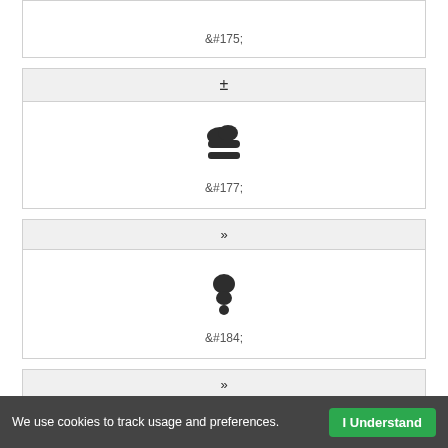| &#175; |
| ± |
| --- |
| &#177; |
| » |
| --- |
| &#184; |
| » |
| --- |
We use cookies to track usage and preferences.